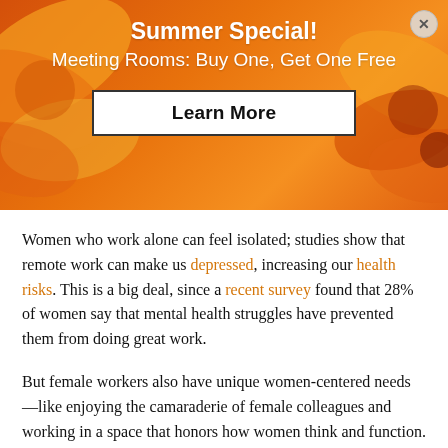[Figure (infographic): Orange/sunflower banner advertisement with text 'Summer Special! Meeting Rooms: Buy One, Get One Free' and a 'Learn More' button on a warm orange gradient background with flower imagery.]
Women who work alone can feel isolated; studies show that remote work can make us depressed, increasing our health risks. This is a big deal, since a recent survey found that 28% of women say that mental health struggles have prevented them from doing great work.
But female workers also have unique women-centered needs—like enjoying the camaraderie of female colleagues and working in a space that honors how women think and function.
Women also need a place where they can gain support for life challenges that make work harder—like parenting skills, taking care of aging parents,